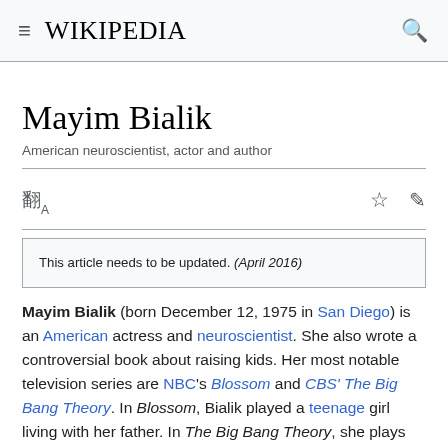Wikipedia
Mayim Bialik
American neuroscientist, actor and author
This article needs to be updated. (April 2016)
Mayim Bialik (born December 12, 1975 in San Diego) is an American actress and neuroscientist. She also wrote a controversial book about raising kids. Her most notable television series are NBC's Blossom and CBS' The Big Bang Theory. In Blossom, Bialik played a teenage girl living with her father. In The Big Bang Theory, she plays Amy Farrah Fowler. Bialik has also acted in a number of